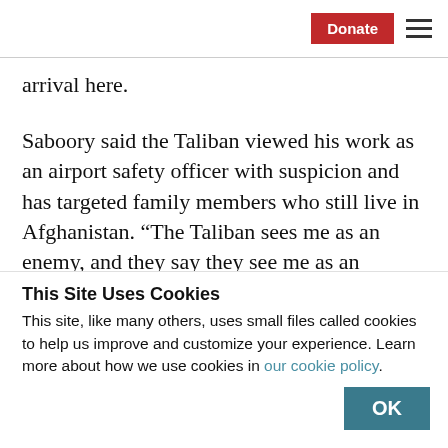Donate  ≡
arrival here.
Saboory said the Taliban viewed his work as an airport safety officer with suspicion and has targeted family members who still live in Afghanistan. “The Taliban sees me as an enemy, and they say they see me as an
This Site Uses Cookies
This site, like many others, uses small files called cookies to help us improve and customize your experience. Learn more about how we use cookies in our cookie policy.